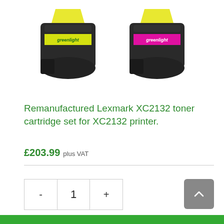[Figure (photo): Two remanufactured Lexmark XC2132 toner cartridges side by side — left one with yellow greenlight label, right one with magenta greenlight label. Both are black cartridges.]
Remanufactured Lexmark XC2132 toner cartridge set for XC2132 printer.
£203.99 plus VAT
- 1 +
[Figure (illustration): Scroll-to-top button (up chevron on grey background)]